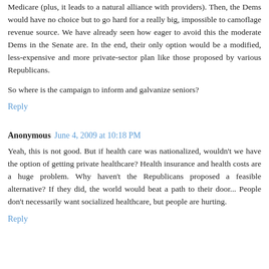Medicare (plus, it leads to a natural alliance with providers). Then, the Dems would have no choice but to go hard for a really big, impossible to camoflage revenue source. We have already seen how eager to avoid this the moderate Dems in the Senate are. In the end, their only option would be a modified, less-expensive and more private-sector plan like those proposed by various Republicans.
So where is the campaign to inform and galvanize seniors?
Reply
Anonymous  June 4, 2009 at 10:18 PM
Yeah, this is not good. But if health care was nationalized, wouldn't we have the option of getting private healthcare? Health insurance and health costs are a huge problem. Why haven't the Republicans proposed a feasible alternative? If they did, the world would beat a path to their door... People don't necessarily want socialized healthcare, but people are hurting.
Reply